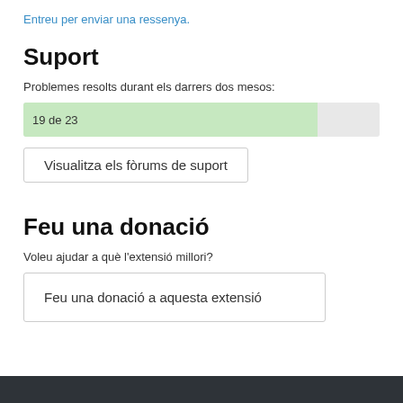Entreu per enviar una ressenya.
Suport
Problemes resolts durant els darrers dos mesos:
[Figure (infographic): Progress bar showing 19 de 23, approximately 82.6% filled in light green]
Visualitza els fòrums de suport
Feu una donació
Voleu ajudar a què l'extensió millori?
Feu una donació a aquesta extensió